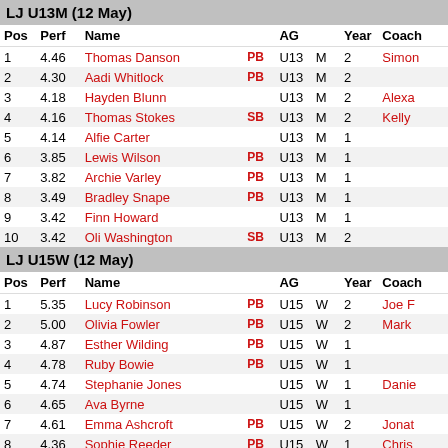LJ U13M (12 May)
| Pos | Perf | Name |  | AG |  | Year | Coach |
| --- | --- | --- | --- | --- | --- | --- | --- |
| 1 | 4.46 | Thomas Danson | PB | U13 | M | 2 | Simon |
| 2 | 4.30 | Aadi Whitlock | PB | U13 | M | 2 |  |
| 3 | 4.18 | Hayden Blunn |  | U13 | M | 2 | Alexa |
| 4 | 4.16 | Thomas Stokes | SB | U13 | M | 2 | Kelly |
| 5 | 4.14 | Alfie Carter |  | U13 | M | 1 |  |
| 6 | 3.85 | Lewis Wilson | PB | U13 | M | 1 |  |
| 7 | 3.82 | Archie Varley | PB | U13 | M | 1 |  |
| 8 | 3.49 | Bradley Snape | PB | U13 | M | 1 |  |
| 9 | 3.42 | Finn Howard |  | U13 | M | 1 |  |
| 10 | 3.42 | Oli Washington | SB | U13 | M | 2 |  |
LJ U15W (12 May)
| Pos | Perf | Name |  | AG |  | Year | Coach |
| --- | --- | --- | --- | --- | --- | --- | --- |
| 1 | 5.35 | Lucy Robinson | PB | U15 | W | 2 | Joe F |
| 2 | 5.00 | Olivia Fowler | PB | U15 | W | 2 | Mark |
| 3 | 4.87 | Esther Wilding | PB | U15 | W | 1 |  |
| 4 | 4.78 | Ruby Bowie | PB | U15 | W | 1 |  |
| 5 | 4.74 | Stephanie Jones |  | U15 | W | 1 | Danie |
| 6 | 4.65 | Ava Byrne |  | U15 | W | 1 |  |
| 7 | 4.61 | Emma Ashcroft | PB | U15 | W | 2 | Jonat |
| 8 | 4.36 | Sophie Reeder | PB | U15 | W | 1 | Chris |
| 9 | 4.36 | Abbie Birchenough |  | U15 | W | 1 |  |
| 10 | 4.22 | Ellice Frace Francis |  | U15 | W | 1 | Jac |